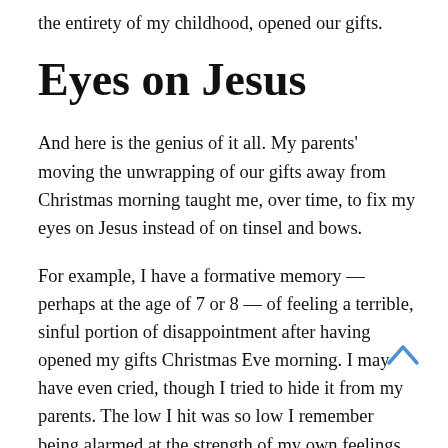the entirety of my childhood, opened our gifts.
Eyes on Jesus
And here is the genius of it all. My parents' moving the unwrapping of our gifts away from Christmas morning taught me, over time, to fix my eyes on Jesus instead of on tinsel and bows.
For example, I have a formative memory — perhaps at the age of 7 or 8 — of feeling a terrible, sinful portion of disappointment after having opened my gifts Christmas Eve morning. I may have even cried, though I tried to hide it from my parents. The low I hit was so low I remember being alarmed at the strength of my own feelings, even as a child. As I think back, I believe that